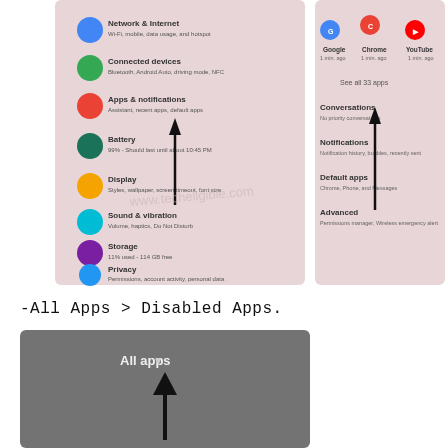[Figure (screenshot): Two Android phone screenshots side by side showing Settings menu (left: Network & Internet, Connected devices, Apps & notifications, Battery, Display, Sound & vibration, Storage, Privacy) and Apps & Notifications submenu (right: Google/Chrome/YouTube recently used, See all 33 apps, Conversations, Notifications, Default apps, Advanced). Black arrows point upward on both screens. Watermark: www.techeligible.com]
-All Apps > Disabled Apps.
[Figure (screenshot): Android phone screenshot showing 'All apps' heading with a black upward-pointing arrow below it, partially cut off at bottom.]